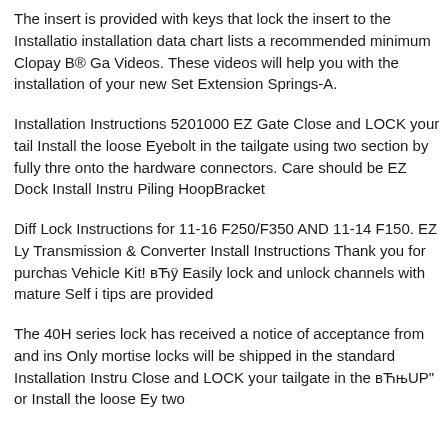The insert is provided with keys that lock the insert to the Installation data chart lists a recommended minimum Clopay B® Ga Videos. These videos will help you with the installation of your new Set Extension Springs-A.
Installation Instructions 5201000 EZ Gate Close and LOCK your tail Install the loose Eyebolt in the tailgate using two section by fully thre onto the hardware connectors. Care should be EZ Dock Install Instru Piling HoopBracket
Diff Lock Instructions for 11-16 F250/F350 AND 11-14 F150. EZ Ly Transmission & Converter Install Instructions Thank you for purchas Vehicle Kit! вЋÿ Easily lock and unlock channels with mature Self i tips are provided
The 40H series lock has received a notice of acceptance from and ins Only mortise locks will be shipped in the standard Installation Instru Close and LOCK your tailgate in the вЋњUP" or Install the loose Ey two